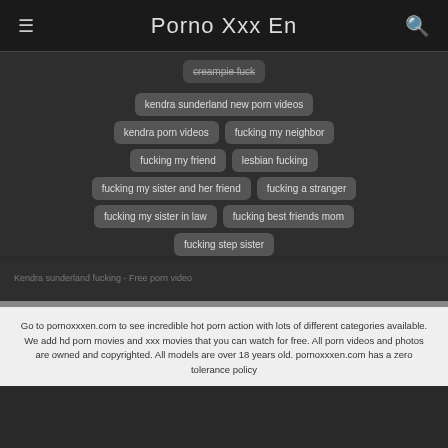Porno Xxx En
creampie fuck
kendra sunderland new porn videos
kendra porn videos
fucking my neighbor
fucking my friend
lesbian fucking
fucking my sister and her friend
fucking a stranger
fucking my sister in law
fucking best friends mom
fucking step sister
Kendra sunderland fucking - Free porn video
Go to pornoxxxen.com to see incredible hot porn action with lots of different categories available. We add hd porn movies and xxx movies that you can watch for free. All porn videos and photos are owned and copyrighted. All models are over 18 years old. pornoxxxen.com has a zero tolerance policy